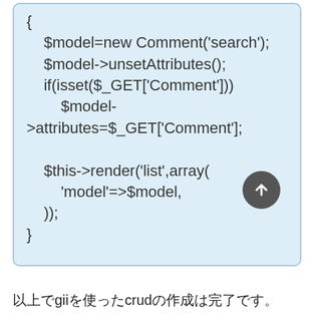[Figure (screenshot): Code block on light blue background showing PHP actionList function body with $model=new Comment('search'), $model->unsetAttributes(), if(isset($_GET['Comment'])) $model->attributes=$_GET['Comment']; and $this->render('list',array('model'=>$model,)); and closing brace.]
以上でgiiを使ったcrudの作成は完了です。